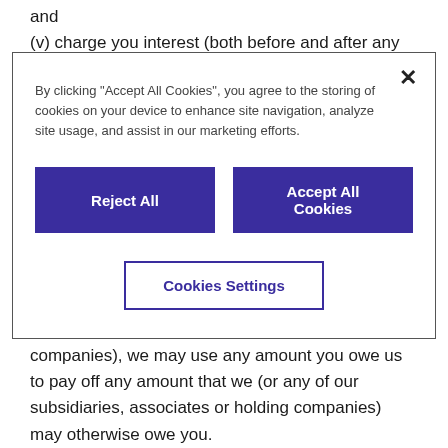and
(v) charge you interest (both before and after any
[Figure (screenshot): Cookie consent modal dialog with close button (×), text about cookies, two purple buttons ('Reject All' and 'Accept All Cookies'), and a white button with purple border ('Cookies Settings')]
amounts as a set off against any amount we may owe you.
14. If you are liable to us, and as a result owe us money, under these conditions or otherwise (or to any of our subsidiaries, associates or holding companies), we may use any amount you owe us to pay off any amount that we (or any of our subsidiaries, associates or holding companies) may otherwise owe you.